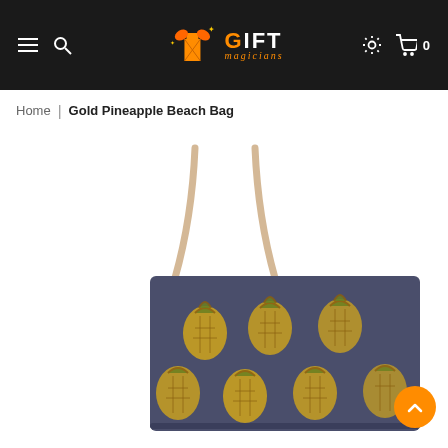Gift Magicians website header with navigation
Home | Gold Pineapple Beach Bag
[Figure (photo): Gold Pineapple Beach Bag product photo showing a large dark navy tote bag with gold pineapple print pattern and rope/chain handles, displayed against a white background.]